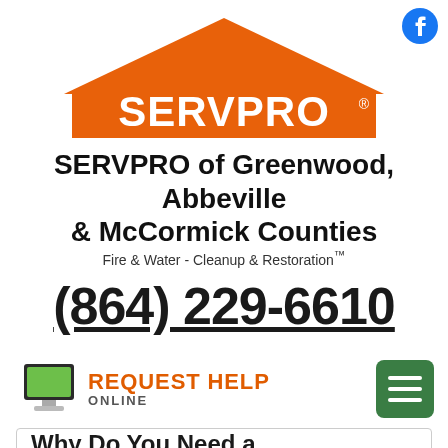[Figure (logo): Facebook circular logo icon in blue, top right corner]
[Figure (logo): SERVPRO logo: orange house/roof shape with white SERVPRO text and registered trademark symbol]
SERVPRO of Greenwood, Abbeville & McCormick Counties
Fire & Water - Cleanup & Restoration™
(864) 229-6610
[Figure (illustration): Computer monitor icon (green screen) next to REQUEST HELP ONLINE text in orange/grey, and green hamburger menu button on the right]
Why Do You Need a